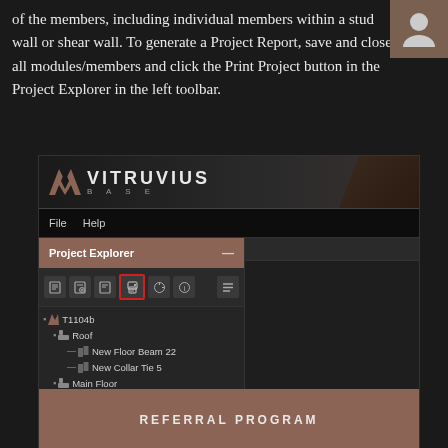of the members, including individual members within a stud wall or shear wall. To generate a Project Report, save and close all modules/members and click the Print Project button in the Project Explorer in the left toolbar.
[Figure (screenshot): Vitruvius BASE application screenshot showing the Project Explorer panel with a tree of structural members (T1104b > Roof, Main Floor, Basement) and toolbar icons, with a red-bordered highlight on the Print Project icon. A 'REFERRAL PROGRAM' overlay appears in the bottom right.]